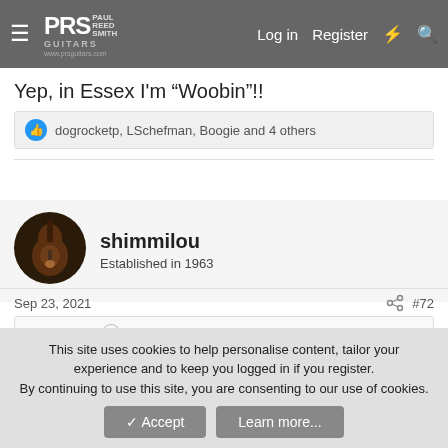PRS Paul Reed Smith Guitars — www.prsguitars.com | Log in | Register
Yep, in Essex I'm “Woobin”!!
dogrocketp, LSchefman, Boogie and 4 others
[Figure (photo): Avatar photo of shimmilou — guitar silhouette image]
shimmilou
Established in 1963
Sep 23, 2021   #72
Boogie said:
It’s DOOboiz here....
This site uses cookies to help personalise content, tailor your experience and to keep you logged in if you register.
By continuing to use this site, you are consenting to our use of cookies.